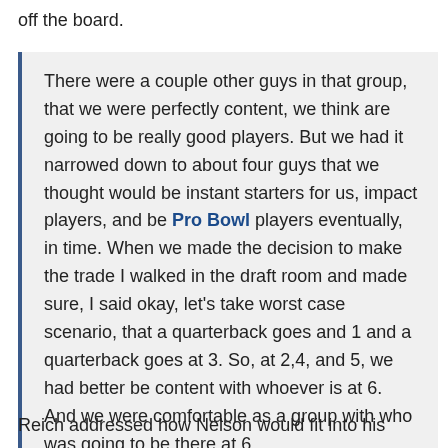off the board.
There were a couple other guys in that group, that we were perfectly content, we think are going to be really good players. But we had it narrowed down to about four guys that we thought would be instant starters for us, impact players, and be Pro Bowl players eventually, in time. When we made the decision to make the trade I walked in the draft room and made sure, I said okay, let's take worst case scenario, that a quarterback goes and 1 and a quarterback goes at 3. So, at 2,4, and 5, we had better be content with whoever is at 6. And we were comfortable as a group with who was going to be there at 6.
Reich addressed how Nelson would fit into his